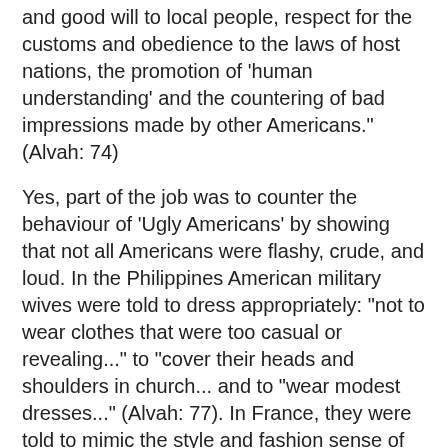and good will to local people, respect for the customs and obedience to the laws of host nations, the promotion of 'human understanding' and the countering of bad impressions made by other Americans." (Alvah: 74)
Yes, part of the job was to counter the behaviour of 'Ugly Americans' by showing that not all Americans were flashy, crude, and loud. In the Philippines American military wives were told to dress appropriately: "not to wear clothes that were too casual or revealing..." to "cover their heads and shoulders in church... and to "wear modest dresses..." (Alvah: 77). In France, they were told to mimic the style and fashion sense of the local French women. Everywhere those American women went, they were encouraged to volunteer at local organizations or to start clubs and friendship associations. And, above all, they were asked to be respectful and learn the local language, customs and values.
And doesn't this all sounds a bit like an exercise in integration? Yes, but Alvah points out that there was a real contradiction here: American women were being asked to